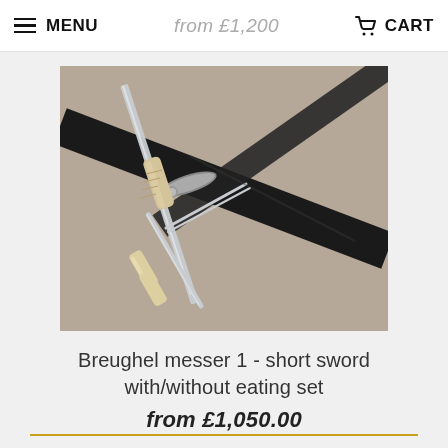MENU | from £1,200 | CART
[Figure (photo): Photo of a Breughel messer short sword with black scabbard, alongside a small eating knife and fork with bone/ivory handles, laid on a tan/grey fabric background.]
Breughel messer 1 - short sword with/without eating set
from £1,050.00